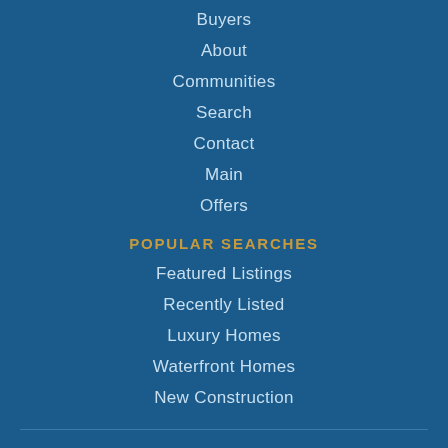Buyers
About
Communities
Search
Contact
Main
Offers
POPULAR SEARCHES
Featured Listings
Recently Listed
Luxury Homes
Waterfront Homes
New Construction